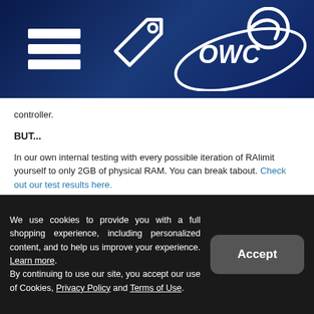[Figure (logo): OWC website header with hamburger menu icon, price tag icon, and OWC logo on dark navy blue background with stars]
controller.
BUT...
In our own internal testing with every possible iteration of RAM, limit yourself to only 2GB of physical RAM. You can break that about. Check out our test results here.
Take a peek at the screenshots below showing a MacBook run
[Figure (screenshot): macOS window bar with red, yellow, green traffic light buttons and Admin text]
We use cookies to provide you with a full shopping experience, including personalized content, and to help us improve your experience. Learn more. By continuing to use our site, you accept our use of Cookies, Privacy Policy and Terms of Use.